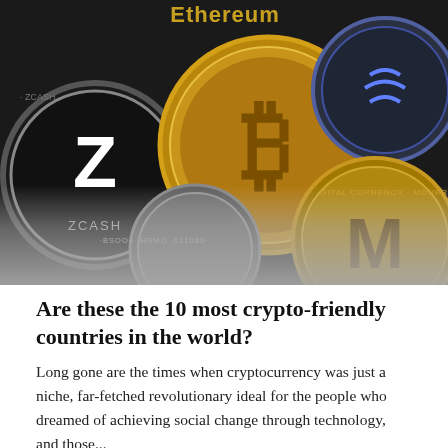[Figure (photo): Photograph of multiple physical cryptocurrency coins including Zcash (black coin with Z logo), Bitcoin (gold coin with B logo), Ripple (silver coin with ripple logo), Monero (gold coin with M logo), and HSMO silver coin, arranged on a dark surface. The bottom portion of the image is blurred.]
Are these the 10 most crypto-friendly countries in the world?
Long gone are the times when cryptocurrency was just a niche, far-fetched revolutionary ideal for the people who dreamed of achieving social change through technology, and those...
[Figure (photo): Partially visible photograph at the bottom of the page, appears to be another crypto-related image, mostly cut off.]